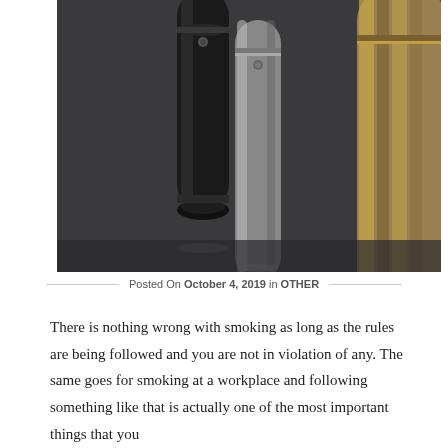[Figure (photo): Close-up photo of electronic cigarettes/vape pens on a dark surface. Two cylindrical metallic vape devices are visible — one black/dark and one silver/gold — lying on a dark gray textured background.]
Posted On October 4, 2019 in OTHER
There is nothing wrong with smoking as long as the rules are being followed and you are not in violation of any. The same goes for smoking at a workplace and following something like that is actually one of the most important things that you